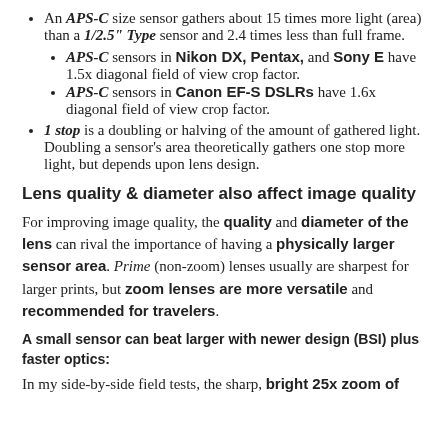An APS-C size sensor gathers about 15 times more light (area) than a 1/2.5" Type sensor and 2.4 times less than full frame.
APS-C sensors in Nikon DX, Pentax, and Sony E have 1.5x diagonal field of view crop factor.
APS-C sensors in Canon EF-S DSLRs have 1.6x diagonal field of view crop factor.
1 stop is a doubling or halving of the amount of gathered light. Doubling a sensor's area theoretically gathers one stop more light, but depends upon lens design.
Lens quality & diameter also affect image quality
For improving image quality, the quality and diameter of the lens can rival the importance of having a physically larger sensor area. Prime (non-zoom) lenses usually are sharpest for larger prints, but zoom lenses are more versatile and recommended for travelers.
A small sensor can beat larger with newer design (BSI) plus faster optics:
In my side-by-side field tests, the sharp, bright 25x zoom of